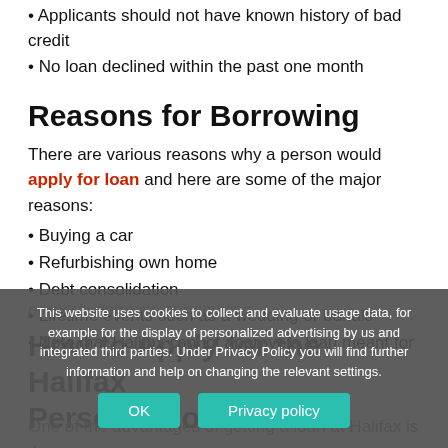• Applicants should not have known history of bad credit
• No loan declined within the past one month
Reasons for Borrowing
There are various reasons why a person would apply for loan and here are some of the major reasons:
• Buying a car
• Refurbishing own home
• Debt consolidation
• Lifetime events such as a wedding or burials
• Note that Halifax cannot approve a loan meant for property deposits or gambling.
How to Apply for the Halifax Personal Loan
One of the advantages of getting a loan at Halifax is that
This website uses cookies to collect and evaluate usage data, for example for the display of personalized advertising by us and integrated third parties. Under Privacy Policy you will find further information and help on changing the relevant settings.